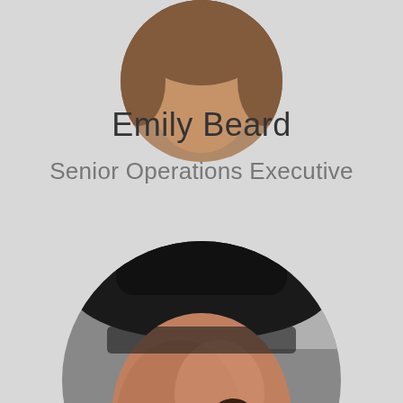[Figure (photo): Circular cropped profile photo of Emily Beard, partially visible at top of page, showing a person with long brown hair]
Emily Beard
Senior Operations Executive
[Figure (photo): Large circular cropped profile photo of a person wearing a dark/black hat, shown from slightly below, taking up the lower half of the page]